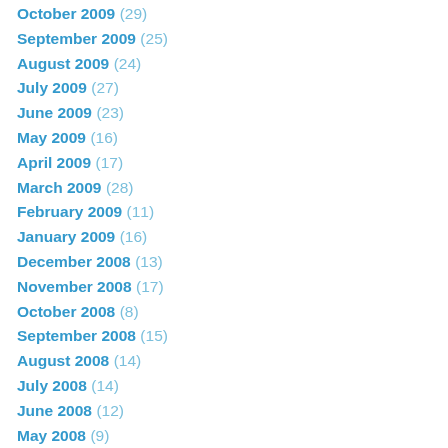October 2009 (29)
September 2009 (25)
August 2009 (24)
July 2009 (27)
June 2009 (23)
May 2009 (16)
April 2009 (17)
March 2009 (28)
February 2009 (11)
January 2009 (16)
December 2008 (13)
November 2008 (17)
October 2008 (8)
September 2008 (15)
August 2008 (14)
July 2008 (14)
June 2008 (12)
May 2008 (9)
April 2008 (8)
March 2008 (7)